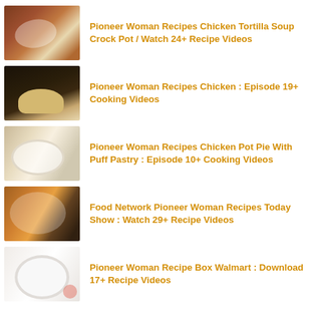Pioneer Woman Recipes Chicken Tortilla Soup Crock Pot / Watch 24+ Recipe Videos
Pioneer Woman Recipes Chicken : Episode 19+ Cooking Videos
Pioneer Woman Recipes Chicken Pot Pie With Puff Pastry : Episode 10+ Cooking Videos
Food Network Pioneer Woman Recipes Today Show : Watch 29+ Recipe Videos
Pioneer Woman Recipe Box Walmart : Download 17+ Recipe Videos